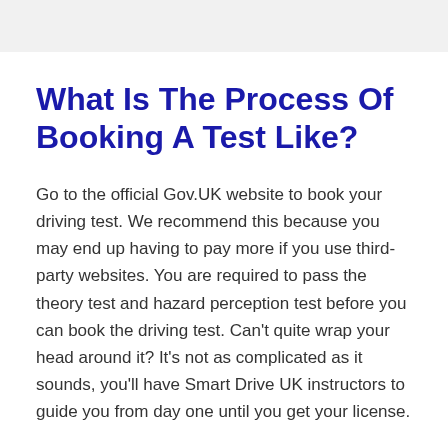What Is The Process Of Booking A Test Like?
Go to the official Gov.UK website to book your driving test. We recommend this because you may end up having to pay more if you use third-party websites. You are required to pass the theory test and hazard perception test before you can book the driving test. Can't quite wrap your head around it? It's not as complicated as it sounds, you'll have Smart Drive UK instructors to guide you from day one until you get your license.